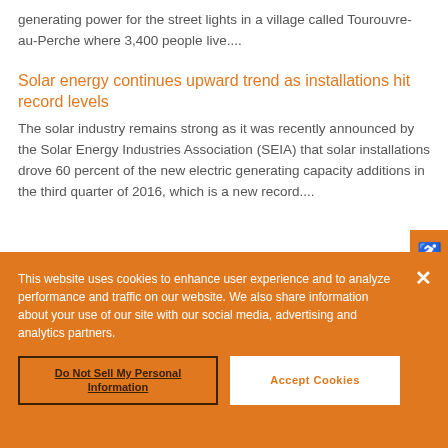generating power for the street lights in a village called Tourouvre-au-Perche where 3,400 people live....
Solar energy continues upward trend as installations hit record levels
The solar industry remains strong as it was recently announced by the Solar Energy Industries Association (SEIA) that solar installations drove 60 percent of the new electric generating capacity additions in the third quarter of 2016, which is a new record....
This website uses cookies to enhance user experience and to analyze performance and traffic on our website. We also share information about your use of our site with our social media, advertising and analytics partners.
Do Not Sell My Personal Information
Accept Cookies